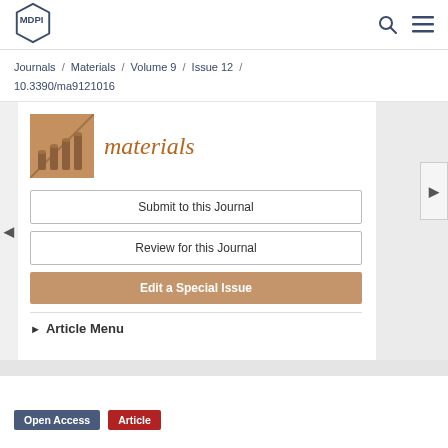MDPI
Journals / Materials / Volume 9 / Issue 12 / 10.3390/ma9121016
[Figure (logo): Materials journal logo with thumbnail image showing cylindrical objects and italic 'materials' text in brown]
Submit to this Journal
Review for this Journal
Edit a Special Issue
▶ Article Menu
Open Access  Article